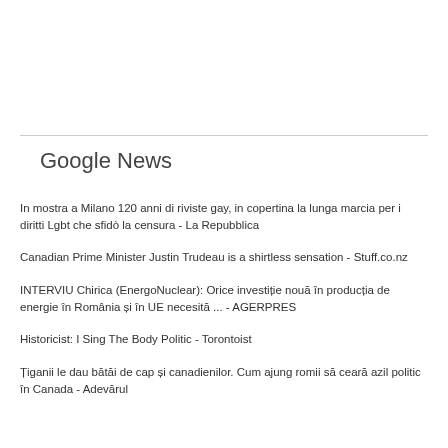Google News
In mostra a Milano 120 anni di riviste gay, in copertina la lunga marcia per i diritti Lgbt che sfidò la censura - La Repubblica
Canadian Prime Minister Justin Trudeau is a shirtless sensation - Stuff.co.nz
INTERVIU Chirica (EnergoNuclear): Orice investiție nouă în producția de energie în România și în UE necesită ... - AGERPRES
Historicist: I Sing The Body Politic - Torontoist
Țiganii le dau bătăi de cap și canadienilor. Cum ajung romii să ceară azil politic în Canada - Adevărul